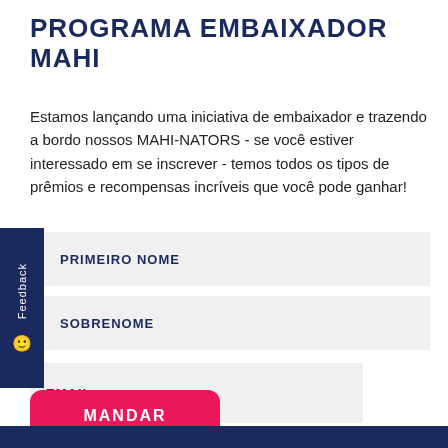PROGRAMA EMBAIXADOR MAHI
Estamos lançando uma iniciativa de embaixador e trazendo a bordo nossos MAHI-NATORS - se você estiver interessado em se inscrever - temos todos os tipos de prêmios e recompensas incríveis que você pode ganhar!
PRIMEIRO NOME
SOBRENOME
EMAIL
MANDAR